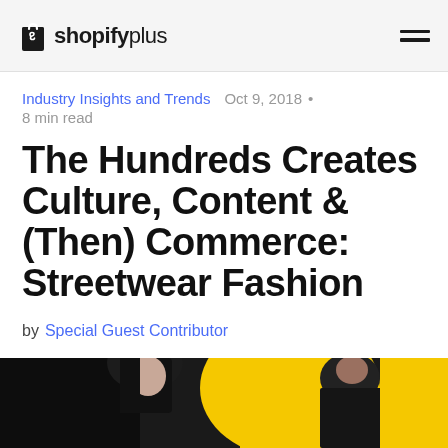Shopify Plus
Industry Insights and Trends  Oct 9, 2018 •  8 min read
The Hundreds Creates Culture, Content & (Then) Commerce: Streetwear Fashion
by Special Guest Contributor
[Figure (photo): Hero photo showing two people, a woman with dark hair and a man, against a dark background with a yellow element, partially cropped at the bottom of the page.]